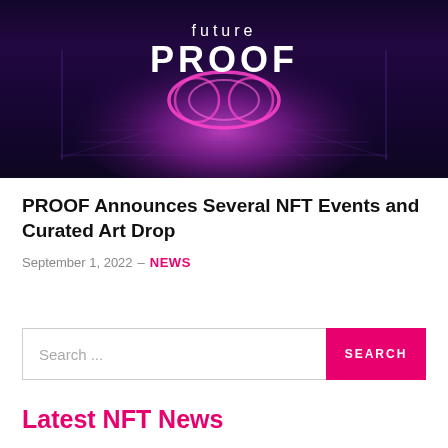[Figure (illustration): Dark purple/navy background with 'future PROOF' text in white and a glowing pink neon infinity-like swirl symbol, with a perspective grid below]
PROOF Announces Several NFT Events and Curated Art Drop
September 1, 2022 – NEWS
Search ...
Latest NFT News